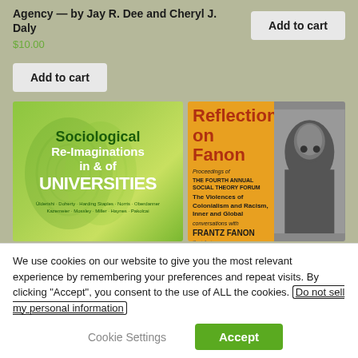Agency — by Jay R. Dee and Cheryl J. Daly
$10.00
Add to cart
Add to cart
[Figure (illustration): Book cover: Sociological Re-Imaginations in & of UNIVERSITIES, green design with silhouette heads]
[Figure (illustration): Book cover: Reflections on Fanon, orange and black design with portrait photo, subtitle about Violences of Colonialism and Racism]
We use cookies on our website to give you the most relevant experience by remembering your preferences and repeat visits. By clicking “Accept”, you consent to the use of ALL the cookies. Do not sell my personal information
Cookie Settings
Accept